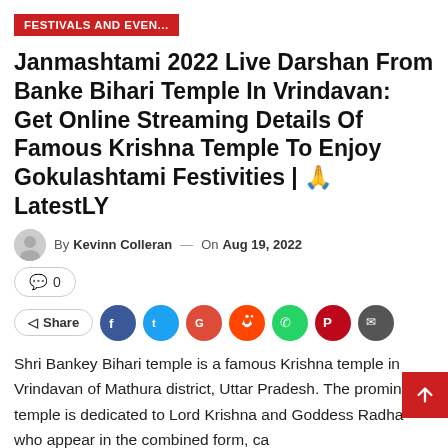FESTIVALS AND EVEN...
Janmashtami 2022 Live Darshan From Banke Bihari Temple In Vrindavan: Get Online Streaming Details Of Famous Krishna Temple To Enjoy Gokulashtami Festivities | 🙏 LatestLY
By Kevinn Colleran — On Aug 19, 2022
0
Share
Shri Bankey Bihari temple is a famous Krishna temple in Vrindavan of Mathura district, Uttar Pradesh. The prominent temple is dedicated to Lord Krishna and Goddess Radha who appear in the combined form, ca... 'Bankey Bihari'. It is the epitome of the love and devotion